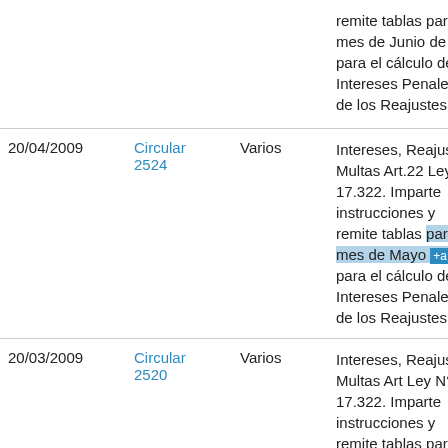| Fecha | Circular | Materia | Descripción |
| --- | --- | --- | --- |
|  |  |  | remite tablas para el mes de Junio de 200... para el cálculo de lo... Intereses Penales y de los Reajustes. |
| 20/04/2009 | Circular 2524 | Varios | Intereses, Reajustes Multas Art.22 Ley N° 17.322. Imparte instrucciones y remite tablas para el mes de Mayo de 200... para el cálculo de lo... Intereses Penales y de los Reajustes. |
| 20/03/2009 | Circular 2520 | Varios | Intereses, Reajustes Multas Art Ley N° 17.322. Imparte instrucciones y remite tablas para el mes de Abril de 200... para el cálculo de lo... |